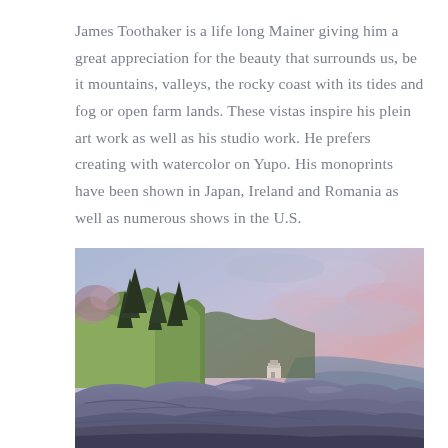James Toothaker is a life long Mainer giving him a great appreciation for the beauty that surrounds us, be it mountains, valleys, the rocky coast with its tides and fog or open farm lands. These vistas inspire his plein art work as well as his studio work. He prefers creating with watercolor on Yupo. His monoprints have been shown in Japan, Ireland and Romania as well as numerous shows in the U.S.
[Figure (illustration): A watercolor painting depicting a rocky Maine coastline with evergreen trees and lush green foliage on the left, rocky ledges in the foreground and middle ground, a small structure or lighthouse visible among the rocks, and a soft pink and blue sky in the background.]